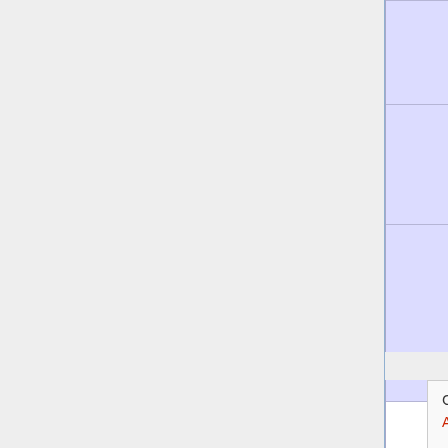| Episodes | Episode titles |
| --- | --- |
| Episodes 51 - 55 | I Am the City · Last Train Beneath These Streets · Play Them Ragtime Boos · The Old College Spirit |
| Episodes 56 - 60 | Hard Knight's Day · Masq Deadcon 1 · Don't Forget the Motor Cit · The Devil in the Deep |
| Episodes 61 - 65 | Lights! Camera! Haunting! · Egon on the Rampage · Station Identification · Hanging by a Thread · Transylvanian Homesick B |
Categories:
Articles to be expanded from December 2012
Articles with invalid date parameter in template
All articles to be expanded
Real Ghostbusters: Season 2
Real Ghostbusters | Cartoons